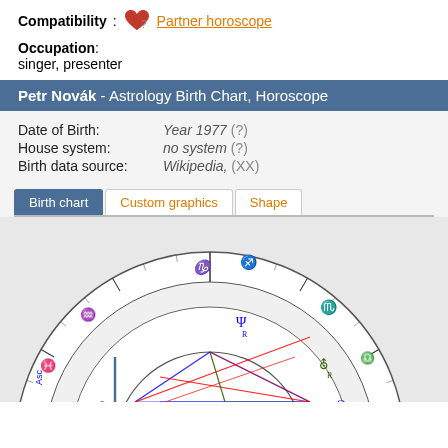Compatibility: Partner horoscope
Occupation: singer, presenter
Petr Novák - Astrology Birth Chart, Horoscope
| Date of Birth: | Year 1977 (?) |
| House system: | no system (?) |
| Birth data source: | Wikipedia, (XX) |
Birth chart | Custom graphics | Shape
[Figure (other): Astrology birth chart wheel showing zodiac signs and planetary positions for Petr Novák, Year 1977. Visible signs include Capricorn, Sagittarius, Scorpio, Libra, Aquarius, Pisces. Planets visible include Neptune (Ψ), Uranus (⛢), Moon (☽), Venus (♀), North Node (Ω). Lines in blue, red, and green cross the inner circle.]